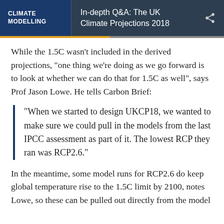CLIMATE MODELLING | In-depth Q&A: The UK Climate Projections 2018
While the 1.5C wasn't included in the derived projections, “one thing we’re doing as we go forward is to look at whether we can do that for 1.5C as well”, says Prof Jason Lowe. He tells Carbon Brief:
“When we started to design UKCP18, we wanted to make sure we could pull in the models from the last IPCC assessment as part of it. The lowest RCP they ran was RCP2.6.”
In the meantime, some model runs for RCP2.6 do keep global temperature rise to the 1.5C limit by 2100, notes Lowe, so these can be pulled out directly from the model